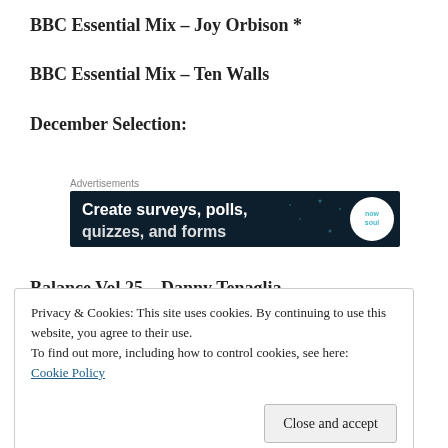BBC Essential Mix – Joy Orbison *
BBC Essential Mix – Ten Walls
December Selection:
Advertisements
[Figure (screenshot): Advertisement banner with dark navy background reading 'Create surveys, polls, quizzes, and forms' with a white circular logo on the right]
Balance Vol.25 – Danny Tenaglia
Privacy & Cookies: This site uses cookies. By continuing to use this website, you agree to their use.
To find out more, including how to control cookies, see here: Cookie Policy
Close and accept